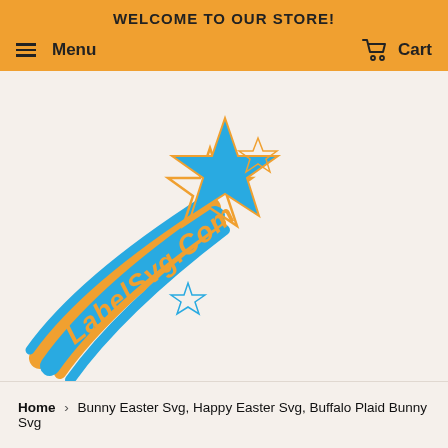WELCOME TO OUR STORE!
Menu   Cart
[Figure (logo): LabelSvg.Com shooting star logo with blue and orange colors, featuring a blue star, orange star outline, two small outlined stars, and curved streaks in blue and orange behind them, with italic orange text 'LabelSvg.Com']
Home › Bunny Easter Svg, Happy Easter Svg, Buffalo Plaid Bunny Svg